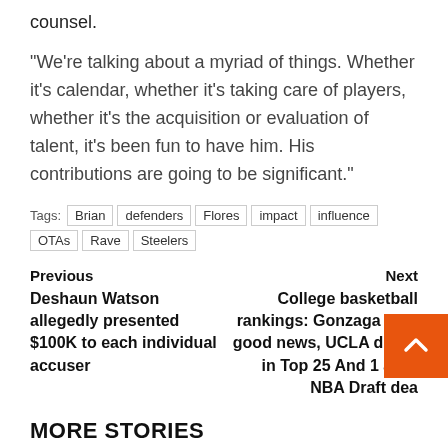counsel.
“We’re talking about a myriad of things. Whether it’s calendar, whether it’s taking care of players, whether it’s the acquisition or evaluation of talent, it’s been fun to have him. His contributions are going to be significant.”
Tags: Brian | defenders | Flores | impact | influence | OTAs | Rave | Steelers
Previous
Deshaun Watson allegedly presented $100K to each individual accuser
Next
College basketball rankings: Gonzaga gets good news, UCLA drops in Top 25 And 1 after NBA Draft dea
MORE STORIES